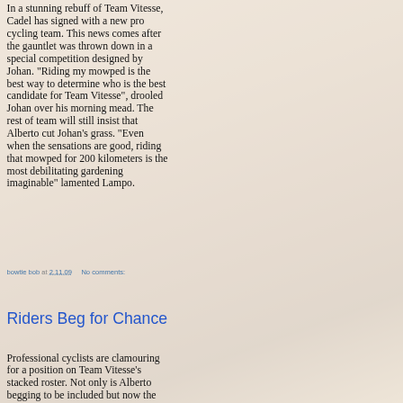In a stunning rebuff of Team Vitesse, Cadel has signed with a new pro cycling team. This news comes after the gauntlet was thrown down in a special competition designed by Johan. "Riding my mowped is the best way to determine who is the best candidate for Team Vitesse", drooled Johan over his morning mead. The rest of team will still insist that Alberto cut Johan's grass. "Even when the sensations are good, riding that mowped for 200 kilometers is the most debilitating gardening imaginable" lamented Lampo.
bowtie bob at 2.11.09   No comments:
Riders Beg for Chance
Professional cyclists are clamouring for a position on Team Vitesse's stacked roster. Not only is Alberto begging to be included but now the whinging Aussie has expressed...